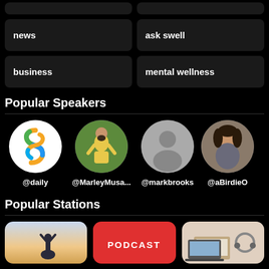news
ask swell
business
mental wellness
Popular Speakers
[Figure (photo): Four circular speaker avatars: a rainbow S-logo (@daily), a woman in yellow (@MarleyMusa...), a generic silhouette placeholder (@markbrooks), and a smiling woman (@aBirdieO)]
Popular Stations
[Figure (photo): Three station cards at the bottom: a sky/silhouette photo, a red card with PODCAST text, and a desk/laptop photo]